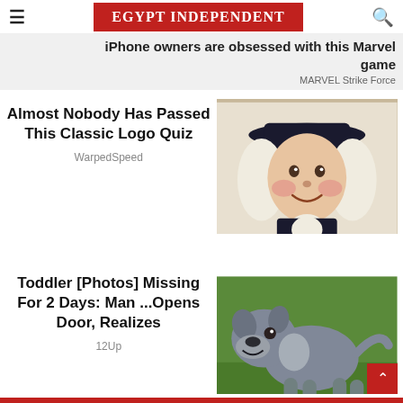EGYPT INDEPENDENT
iPhone owners are obsessed with this Marvel game
MARVEL Strike Force
Almost Nobody Has Passed This Classic Logo Quiz
WarpedSpeed
[Figure (photo): Quaker Oats mascot character — a man in colonial-era clothing with white wig and black hat, smiling]
Toddler [Photos] Missing For 2 Days: Man ...Opens Door, Realizes
12Up
[Figure (photo): A gray/blue pit bull dog standing on grass, facing left and smiling]